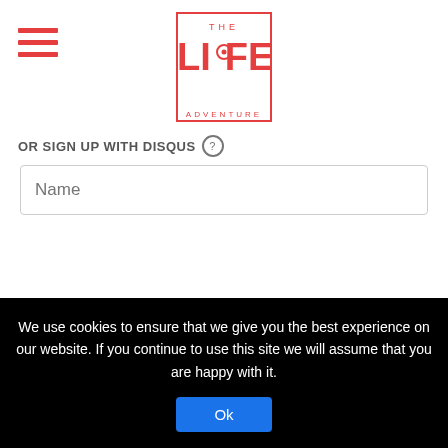[Figure (logo): The Life Adventure logo - red text in a square border]
OR SIGN UP WITH DISQUS
Name
Be the first to comment.
Subscribe  Add Disqus  Do Not Sell My Data  DISQUS
We use cookies to ensure that we give you the best experience on our website. If you continue to use this site we will assume that you are happy with it.
Ok